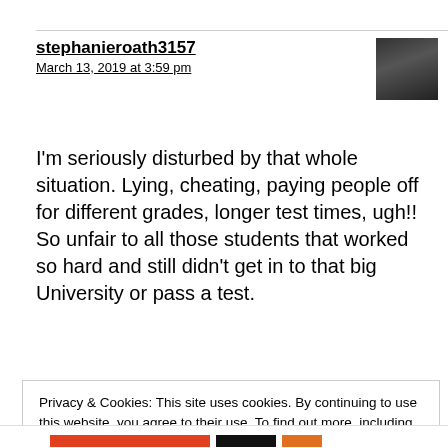stephanieroath3157
March 13, 2019 at 3:59 pm
I'm seriously disturbed by that whole situation. Lying, cheating, paying people off for different grades, longer test times, ugh!! So unfair to all those students that worked so hard and still didn't get in to that big University or pass a test.
Privacy & Cookies: This site uses cookies. By continuing to use this website, you agree to their use. To find out more, including how to control cookies, see here: Cookie Policy
Close and accept